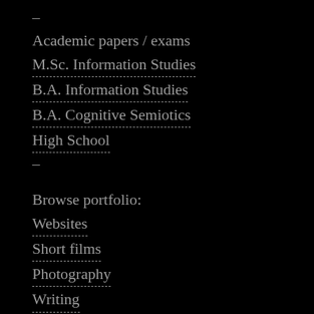–
Academic papers / exams
M.Sc. Information Studies
B.A. Information Studies
B.A. Cognitive Semiotics
High School
–
Browse portfolio:
Websites
Short films
Photography
Writing
Projects
–
Writing published in:
Euroman
Dansk Daily